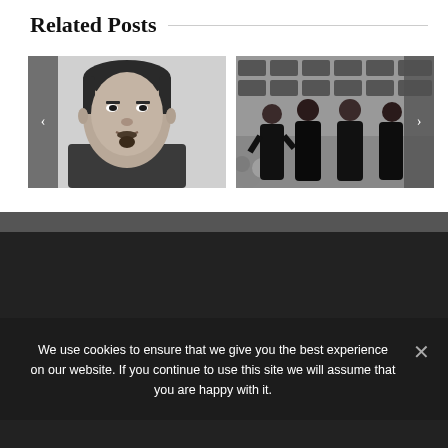Related Posts
[Figure (photo): Black and white close-up portrait of a man with short hair and a goatee]
[Figure (photo): Color photo of four women in black dresses posing together at an event with a branded step-and-repeat backdrop and balloons]
We use cookies to ensure that we give you the best experience on our website. If you continue to use this site we will assume that you are happy with it.